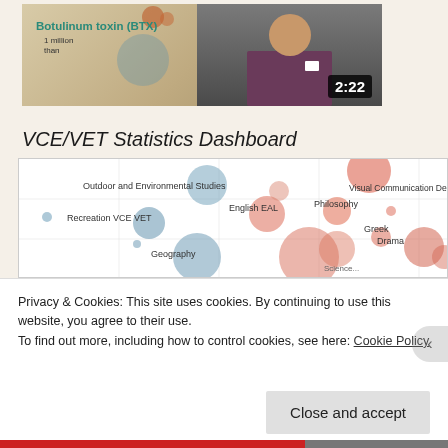[Figure (screenshot): Video thumbnail showing a presenter in a dark suit with a slide about Botulinum toxin (BTX), timer showing 2:22]
VCE/VET Statistics Dashboard
[Figure (bubble-chart): Bubble chart showing various VCE/VET subjects with labels: Outdoor and Environmental Studies, Visual Communication Design, English EAL, Philosophy, Recreation VCE VET, Greek, Geography, Drama, and partially visible others]
Privacy & Cookies: This site uses cookies. By continuing to use this website, you agree to their use.
To find out more, including how to control cookies, see here: Cookie Policy
Close and accept